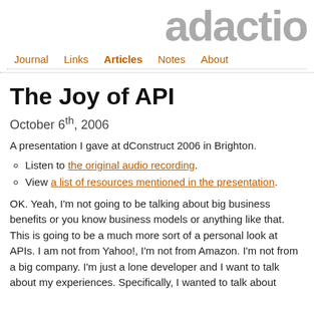adactio
Journal  Links  Articles  Notes  About
The Joy of API
October 6th, 2006
A presentation I gave at dConstruct 2006 in Brighton.
Listen to the original audio recording.
View a list of resources mentioned in the presentation.
OK. Yeah, I'm not going to be talking about big business benefits or you know business models or anything like that. This is going to be a much more sort of a personal look at APIs. I am not from Yahoo!, I'm not from Amazon. I'm not from a big company. I'm just a lone developer and I want to talk about my experiences. Specifically, I wanted to talk about